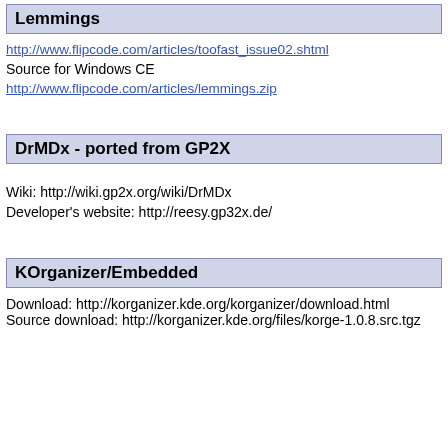Lemmings
http://www.flipcode.com/articles/toofast_issue02.shtml
Source for Windows CE
http://www.flipcode.com/articles/lemmings.zip
DrMDx - ported from GP2X
Wiki: http://wiki.gp2x.org/wiki/DrMDx
Developer's website: http://reesy.gp32x.de/
KOrganizer/Embedded
Download: http://korganizer.kde.org/korganizer/download.html
Source download: http://korganizer.kde.org/files/korge-1.0.8.src.tgz